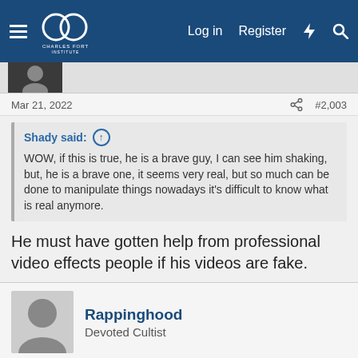Charles Fort Institute — Log in | Register
Mar 21, 2022   #2,003
Shady said: ↑
WOW, if this is true, he is a brave guy, I can see him shaking, but, he is a brave one, it seems very real, but so much can be done to manipulate things nowadays it's difficult to know what is real anymore.
He must have gotten help from professional video effects people if his videos are fake.
Rappinghood
Devoted Cultist
This site uses cookies to help personalise content, tailor your experience and to keep you logged in if you register.
By continuing to use this site, you are consenting to our use of cookies.